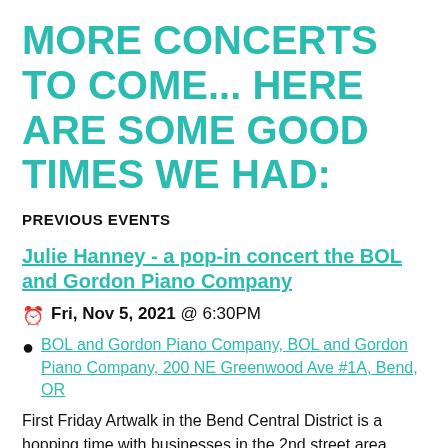MORE CONCERTS TO COME... HERE ARE SOME GOOD TIMES WE HAD:
PREVIOUS EVENTS
Julie Hanney - a pop-in concert the BOL and Gordon Piano Company
Fri, Nov 5, 2021 @ 6:30PM
BOL and Gordon Piano Company, BOL and Gordon Piano Company, 200 NE Greenwood Ave #1A, Bend, OR
First Friday Artwalk in the Bend Central District is a hopping time with businesses in the 2nd street area opening their doors and welcoming people for an immersive experience. At BOL and Gordon Piano